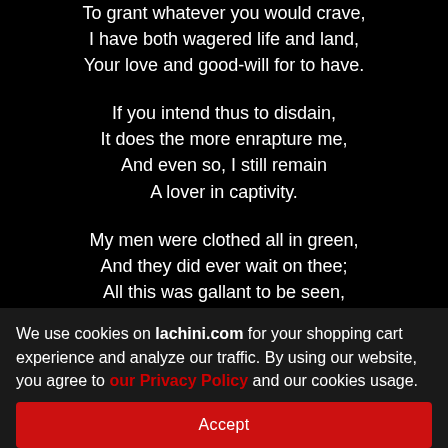To grant whatever you would crave,
I have both wagered life and land,
Your love and good-will for to have.

If you intend thus to disdain,
It does the more enrapture me,
And even so, I still remain
A lover in captivity.

My men were clothed all in green,
And they did ever wait on thee;
All this was gallant to be seen,
We use cookies on lachini.com for your shopping cart experience and analyze our traffic. By using our website, you agree to our Privacy Policy and our cookies usage.